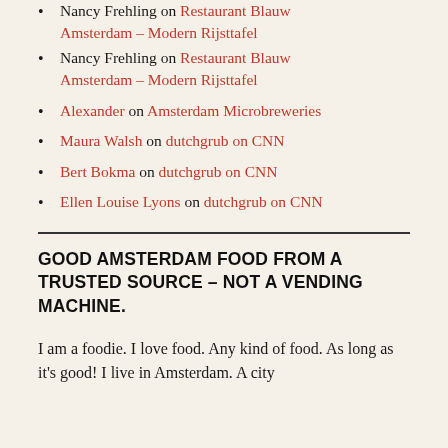Nancy Frehling on Restaurant Blauw Amsterdam – Modern Rijsttafel
Nancy Frehling on Restaurant Blauw Amsterdam – Modern Rijsttafel
Alexander on Amsterdam Microbreweries
Maura Walsh on dutchgrub on CNN
Bert Bokma on dutchgrub on CNN
Ellen Louise Lyons on dutchgrub on CNN
GOOD AMSTERDAM FOOD FROM A TRUSTED SOURCE – NOT A VENDING MACHINE.
I am a foodie. I love food. Any kind of food. As long as it's good! I live in Amsterdam. A city